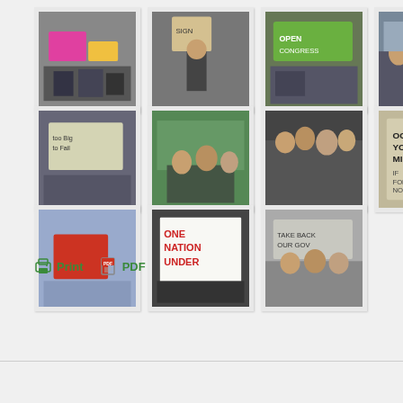[Figure (photo): Row 1: Five thumbnail photos of protest/rally scenes with signs, in white bordered frames]
[Figure (photo): Row 2: Five thumbnail photos of protest/rally scenes with signs, in white bordered frames]
[Figure (photo): Row 3: Three thumbnail photos of protest/rally scenes with signs including 'ONE NATION UNDER', in white bordered frames]
Print   PDF